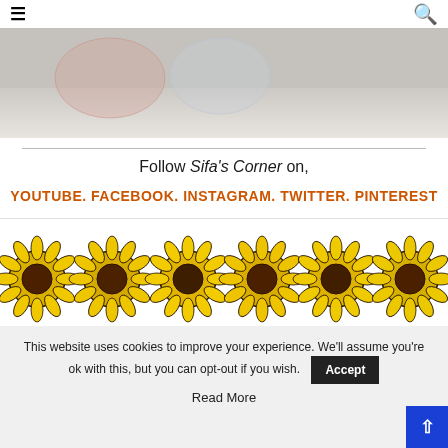≡  🔍
[Figure (photo): Partial photo of objects on a light surface with watermark reading Sifa's Corner and www.sifascorner.com]
Follow Sifa's Corner on,
YOUTUBE. FACEBOOK. INSTAGRAM. TWITTER. PINTEREST
[Figure (illustration): Row of six illustrated sunflower images with yellow petals and dark brown centers]
This website uses cookies to improve your experience. We'll assume you're ok with this, but you can opt-out if you wish.
Accept
Read More